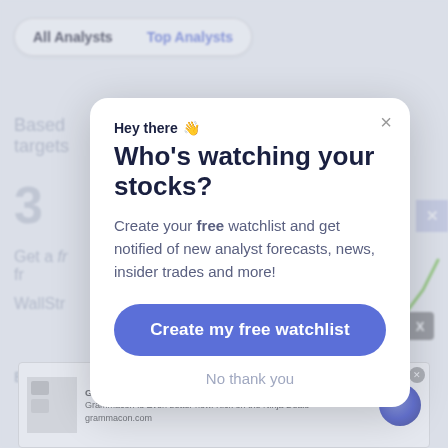[Figure (screenshot): Background web page showing analyst tabs 'All Analysts' and 'Top Analysts', partial page content with number '3', text fragments 'Based', 'targets', 'Get a fr...', 'WallStr...', 'Enter you...', a green line chart fragment, and an X close button on the right side]
Hey there 👋
Who's watching your stocks?
Create your free watchlist and get notified of new analyst forecasts, news, insider trades and more!
Create my free watchlist
No thank you
[Figure (screenshot): Advertisement banner at bottom showing Grammarly Official Site online clearance deals ad with small product images and a circular blue/purple logo icon]